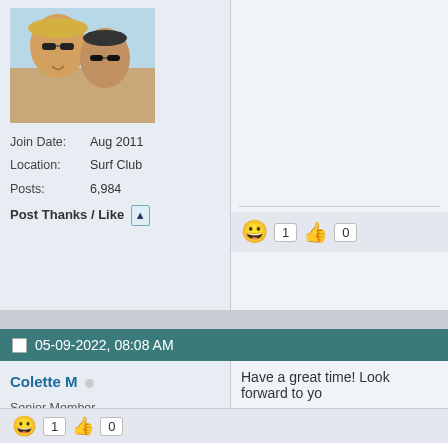[Figure (photo): Profile photo of two people wearing sunglasses and hats, outdoors]
Join Date: Aug 2011
Location: Surf Club
Posts: 6,984
Post Thanks / Like
1  0
05-09-2022, 08:08 AM
Colette M
Senior Member
Join Date: Jun 2020
Posts: 961
Post Thanks / Like
Have a great time! Look forward to yo
1  0